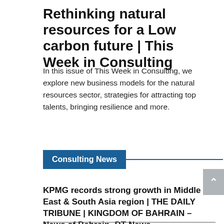Rethinking natural resources for a Low carbon future | This Week in Consulting
In this issue of This Week in Consulting, we explore new business models for the natural resources sector, strategies for attracting top talents, bringing resilience and more.
Consulting News
KPMG records strong growth in Middle East & South Asia region | THE DAILY TRIBUNE | KINGDOM OF BAHRAIN – News of Bahrain- DT News